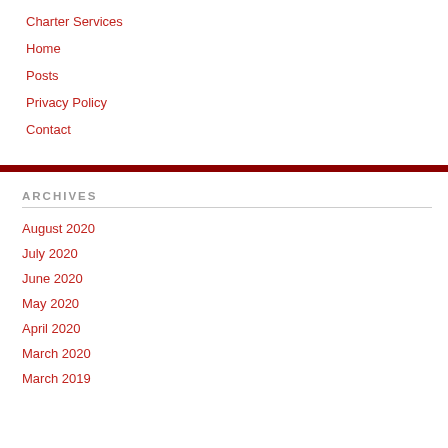Charter Services
Home
Posts
Privacy Policy
Contact
ARCHIVES
August 2020
July 2020
June 2020
May 2020
April 2020
March 2020
March 2019